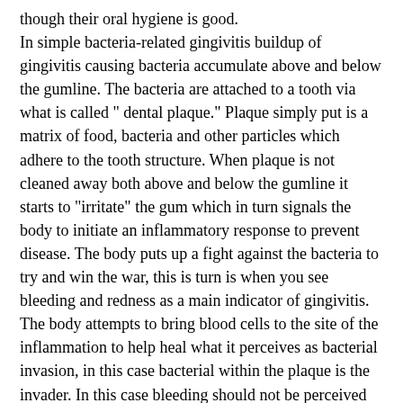though their oral hygiene is good. In simple bacteria-related gingivitis buildup of gingivitis causing bacteria accumulate above and below the gumline. The bacteria are attached to a tooth via what is called " dental plaque." Plaque simply put is a matrix of food, bacteria and other particles which adhere to the tooth structure. When plaque is not cleaned away both above and below the gumline it starts to "irritate" the gum which in turn signals the body to initiate an inflammatory response to prevent disease. The body puts up a fight against the bacteria to try and win the war, this is turn is when you see bleeding and redness as a main indicator of gingivitis. The body attempts to bring blood cells to the site of the inflammation to help heal what it perceives as bacterial invasion, in this case bacterial within the plaque is the invader. In this case bleeding should not be perceived as something to be afraid of, it is simply the body's way of telling the person something is wrong and to do something about it. This is when I recommend to floss and brush more, not less. In other cases of gingivitis the body can play a role in how it